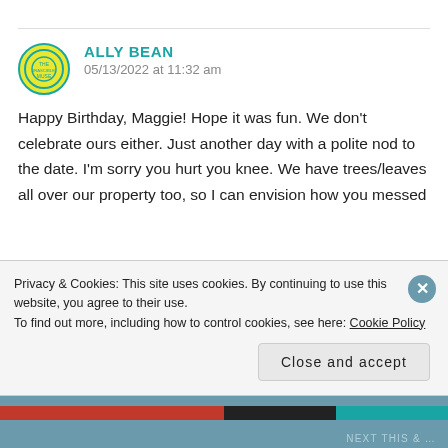ALLY BEAN
05/13/2022 at 11:32 am

Happy Birthday, Maggie! Hope it was fun. We don't celebrate ours either. Just another day with a polite nod to the date. I'm sorry you hurt you knee. We have trees/leaves all over our property too, so I can envision how you messed
Privacy & Cookies: This site uses cookies. By continuing to use this website, you agree to their use.
To find out more, including how to control cookies, see here: Cookie Policy
Close and accept